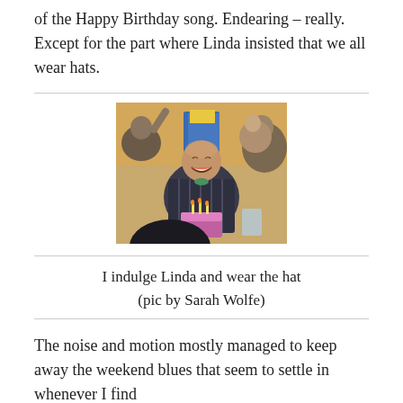of the Happy Birthday song. Endearing – really. Except for the part where Linda insisted that we all wear hats.
[Figure (photo): A man laughing at a birthday celebration, surrounded by people, with a birthday cake with candles in front of him. Indoor restaurant setting.]
I indulge Linda and wear the hat
(pic by Sarah Wolfe)
The noise and motion mostly managed to keep away the weekend blues that seem to settle in whenever I find